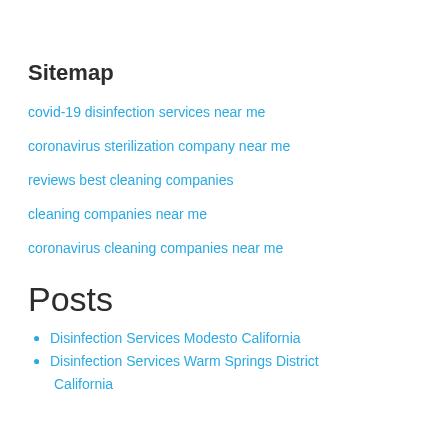Sitemap
covid-19 disinfection services near me
coronavirus sterilization company near me
reviews best cleaning companies
cleaning companies near me
coronavirus cleaning companies near me
Posts
Disinfection Services Modesto California
Disinfection Services Warm Springs District California